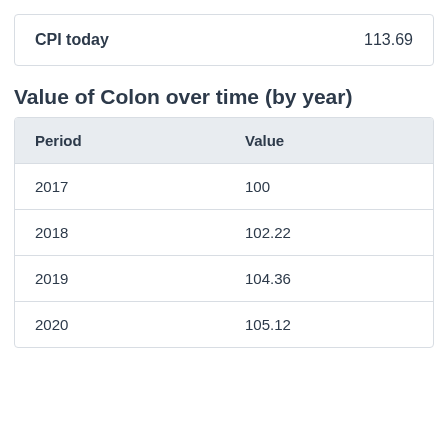| CPI today | 113.69 |
| --- | --- |
Value of Colon over time (by year)
| Period | Value |
| --- | --- |
| 2017 | 100 |
| 2018 | 102.22 |
| 2019 | 104.36 |
| 2020 | 105.12 |